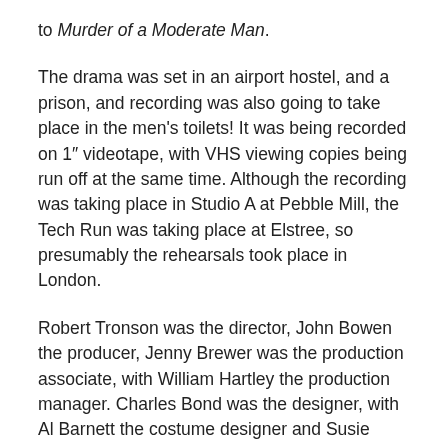to Murder of a Moderate Man.
The drama was set in an airport hostel, and a prison, and recording was also going to take place in the men's toilets! It was being recorded on 1" videotape, with VHS viewing copies being run off at the same time. Although the recording was taking place in Studio A at Pebble Mill, the Tech Run was taking place at Elstree, so presumably the rehearsals took place in London.
Robert Tronson was the director, John Bowen the producer, Jenny Brewer was the production associate, with William Hartley the production manager. Charles Bond was the designer, with Al Barnett the costume designer and Susie Bancroft the make-up designer. Dave Bushell was technical manager, with Annette Martin as vision mixer and Ivor Williams and Leigh Sinclair were the